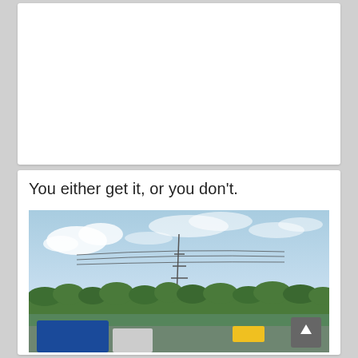[Figure (other): White blank card area at the top of the page]
You either get it, or you don't.
[Figure (photo): Outdoor photo showing a road scene with a blue road sign partially visible at the bottom, trees, a power line tower, and a partly cloudy sky. A scroll-to-top button overlay is visible at the bottom right.]